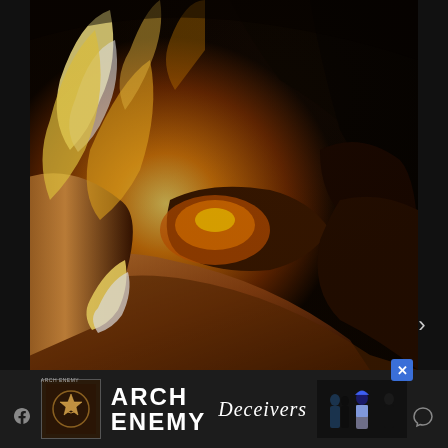[Figure (photo): Close-up macro photograph of burning wood and fire. Glowing embers, charred logs, and bright golden-orange flames fill the frame. The image is dark overall with vivid fire light illuminating the burning wood pieces.]
[Figure (photo): Advertisement banner for Arch Enemy 'Deceivers' album. Dark background with band logo, album artwork thumbnail showing a decorative crest, text reading 'ARCH ENEMY Deceivers' with stylized script for the album name, and a band photo showing members in dramatic poses.]